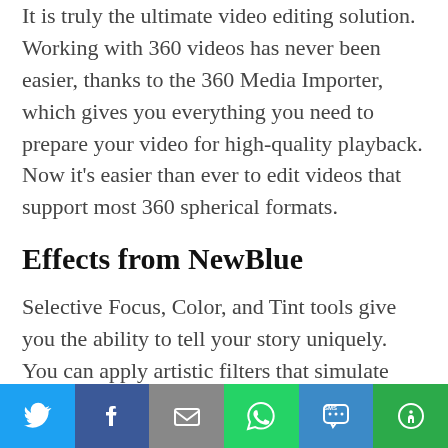It is truly the ultimate video editing solution. Working with 360 videos has never been easier, thanks to the 360 Media Importer, which gives you everything you need to prepare your video for high-quality playback. Now it's easier than ever to edit videos that support most 360 spherical formats.
Effects from NewBlue
Selective Focus, Color, and Tint tools give you the ability to tell your story uniquely. You can apply artistic filters that simulate Instagram effects, make videos look like oil paintings, or let you turn footage of the clearest ocean
[Figure (infographic): Social share bar with Twitter, Facebook, Email, WhatsApp, SMS, and More buttons]